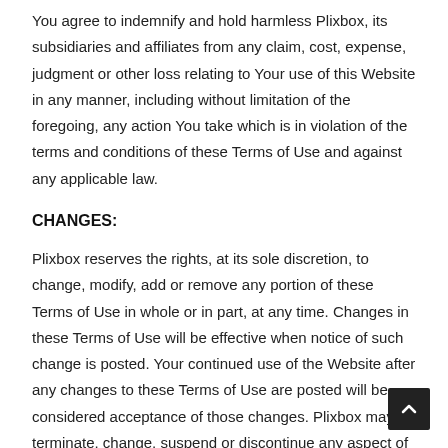You agree to indemnify and hold harmless Plixbox, its subsidiaries and affiliates from any claim, cost, expense, judgment or other loss relating to Your use of this Website in any manner, including without limitation of the foregoing, any action You take which is in violation of the terms and conditions of these Terms of Use and against any applicable law.
CHANGES:
Plixbox reserves the rights, at its sole discretion, to change, modify, add or remove any portion of these Terms of Use in whole or in part, at any time. Changes in these Terms of Use will be effective when notice of such change is posted. Your continued use of the Website after any changes to these Terms of Use are posted will be considered acceptance of those changes. Plixbox may terminate, change, suspend or discontinue any aspect of the Website, including the availability of any feature(s) of the Website at any time. Plixbox may also impose limits on certain features and